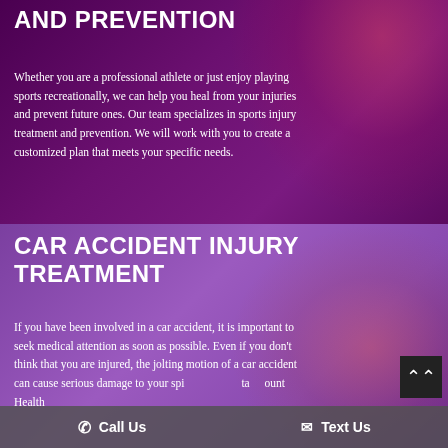AND PREVENTION
Whether you are a professional athlete or just enjoy playing sports recreationally, we can help you heal from your injuries and prevent future ones. Our team specializes in sports injury treatment and prevention. We will work with you to create a customized plan that meets your specific needs.
CAR ACCIDENT INJURY TREATMENT
If you have been involved in a car accident, it is important to seek medical attention as soon as possible. Even if you don't think that you are injured, the jolting motion of a car accident can cause serious damage to your spi[ne and skele]ta[l ...] ount Health [... specia]